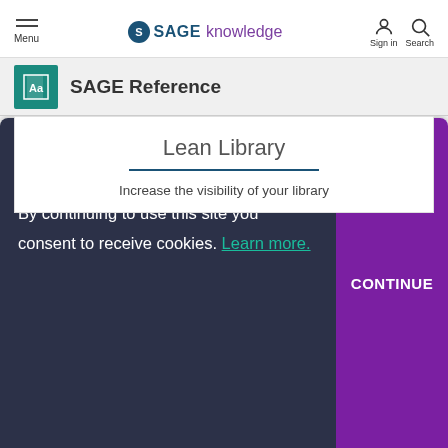Menu | SAGE knowledge | Sign in | Search
SAGE Reference
Lean Library
Increase the visibility of your library
To enhance your experience on our site, SAGE stores cookies on your computer. By continuing to use this site you consent to receive cookies. Learn more.
CONTINUE